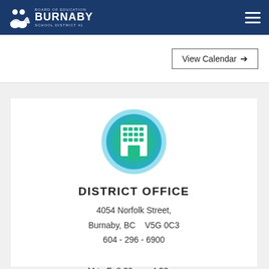Board of Education Burnaby School District 41
View Calendar →
[Figure (illustration): Circular gradient icon (green to blue) with a white building/office icon in the center]
DISTRICT OFFICE
4054 Norfolk Street,
Burnaby, BC   V5G 0C3
604 - 296 - 6900
M to F: 8:30am - 4:30pm